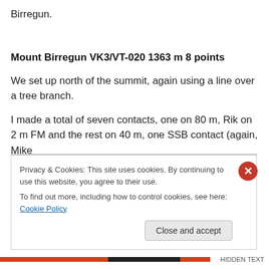Birregun.
Mount Birregun VK3/VT-020 1363 m 8 points
We set up north of the summit, again using a line over a tree branch.
I made a total of seven contacts, one on 80 m, Rik on 2 m FM and the rest on 40 m, one SSB contact (again, Mike
Privacy & Cookies: This site uses cookies. By continuing to use this website, you agree to their use.
To find out more, including how to control cookies, see here: Cookie Policy
Close and accept